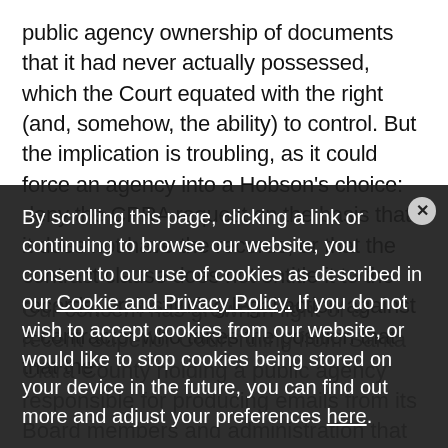public agency ownership of documents that it had never actually possessed, which the Court equated with the right (and, somehow, the ability) to control. But the implication is troubling, as it could force an agency into a Hobson's choice: deny the CPRA request on the basis that it does not have the records, or that the contract clause does not entitle it to the records; or, instituting legal action against a contractor who takes the position that that the
Our concern has grown in light of a recent Superior Court ruling from Santa Clara County holding a public agency responsible for producing emails from its Board members and administration that were sent using Private email accounts or official...
By scrolling this page, clicking a link or continuing to browse our website, you consent to our use of cookies as described in our Cookie and Privacy Policy. If you do not wish to accept cookies from our website, or would like to stop cookies being stored on your device in the future, you can find out more and adjust your preferences here.